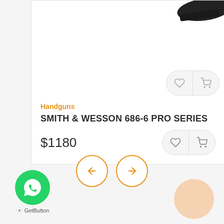[Figure (photo): Partial product photo of a Smith & Wesson 686-6 Pro Series handgun, top portion visible cropped at top of card]
Handguns
SMITH & WESSON 686-6 PRO SERIES
$1180
[Figure (other): Navigation arrows: left arrow circle and right arrow circle in orange outline style]
[Figure (other): WhatsApp contact button (green circle with WhatsApp logo) with GetButton label below]
[Figure (other): Partial orange/peach circle bottom right corner]